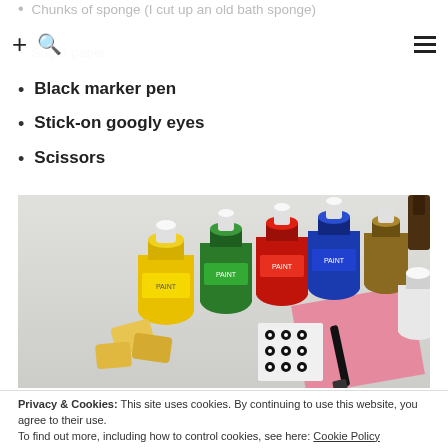Chunks of sponge (I cut up an old bath sponge)
Sugar paper
Black marker pen
Stick-on googly eyes
Scissors
[Figure (photo): Photo of craft supplies on a table: bottles of yellow, green, red, blue paint, sponge chunks, googly eyes sticker sheet, a black marker pen, and pink sugar paper]
Privacy & Cookies: This site uses cookies. By continuing to use this website, you agree to their use.
To find out more, including how to control cookies, see here: Cookie Policy
Instructions: